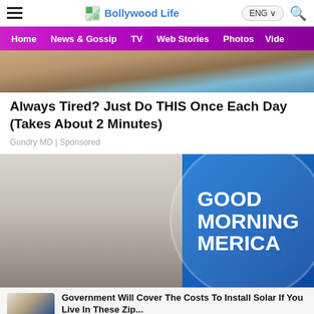Bollywood Life
[Figure (screenshot): Top navigation bar with hamburger menu, Bollywood Life logo, ENG language selector, and search icon]
[Figure (screenshot): Purple/magenta navigation menu bar with links: Home, News & Gossip, TV, Web Stories, Photos, Video]
[Figure (photo): Advertisement image showing partial view of a person in beige/tan clothing with a dark circular object]
Always Tired? Just Do THIS Once Each Day (Takes About 2 Minutes)
Gundry MD | Sponsored
[Figure (photo): Good Morning America TV show image with two women hosts, one in grey top and one in black top, with Good Morning America logo in blue circle on the right]
Government Will Cover The Costs To Install Solar If You Live In These Zip...
AD Solar Sesame